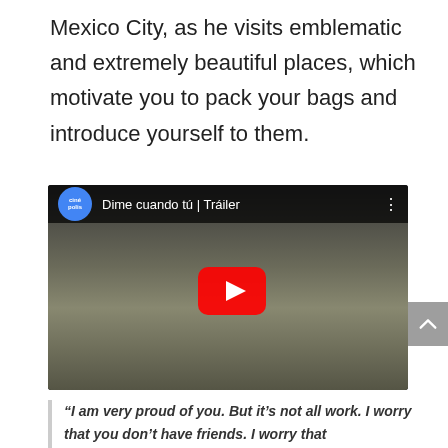Mexico City, as he visits emblematic and extremely beautiful places, which motivate you to pack your bags and introduce yourself to them.
[Figure (screenshot): YouTube video thumbnail for 'Dime cuando tú | Tráiler' by Cinépolis. Shows a man and woman outdoors in a plaza setting, with a YouTube play button overlay in the center.]
“I am very proud of you. But it’s not all work. I worry that you don’t have friends. I worry that